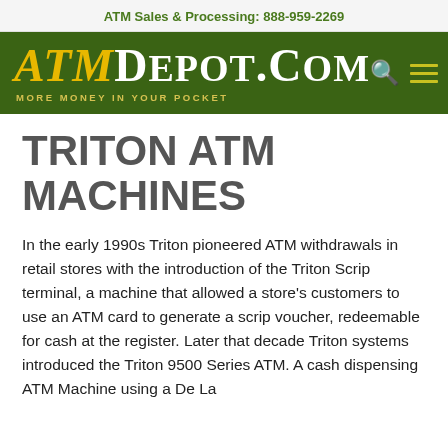ATM Sales & Processing: 888-959-2269
[Figure (logo): ATMDepot.com logo — yellow italic ATM and white DEPOT.COM on dark green background, tagline: MORE MONEY IN YOUR POCKET]
TRITON ATM MACHINES
In the early 1990s Triton pioneered ATM withdrawals in retail stores with the introduction of the Triton Scrip terminal, a machine that allowed a store's customers to use an ATM card to generate a scrip voucher, redeemable for cash at the register. Later that decade Triton systems introduced the Triton 9500 Series ATM. A cash dispensing ATM Machine using a De La